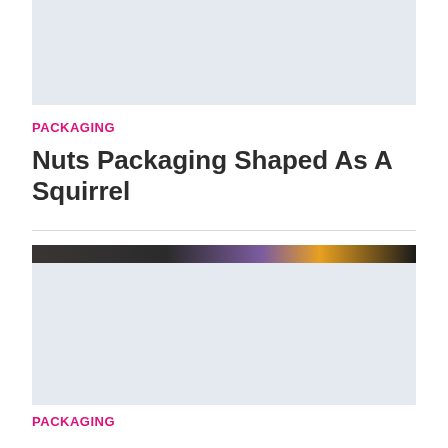[Figure (photo): Photo placeholder block at top of page, light blue-grey background]
PACKAGING
Nuts Packaging Shaped As A Squirrel
[Figure (photo): Photo with dark strip at top showing blurred colorful image, light blue-grey background below]
PACKAGING